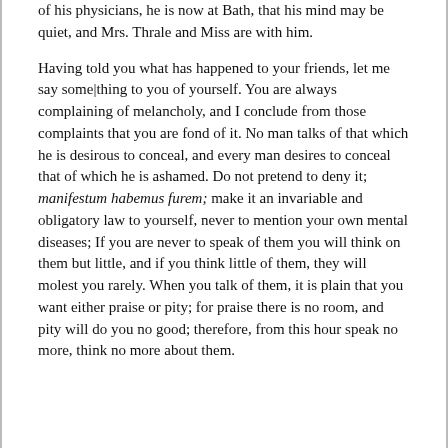of his physicians, he is now at Bath, that his mind may be quiet, and Mrs. Thrale and Miss are with him.
Having told you what has happened to your friends, let me say some|thing to you of yourself. You are always complaining of melancholy, and I conclude from those complaints that you are fond of it. No man talks of that which he is desirous to conceal, and every man desires to conceal that of which he is ashamed. Do not pretend to deny it; manifestum habemus furem; make it an invariable and obligatory law to yourself, never to mention your own mental diseases; If you are never to speak of them you will think on them but little, and if you think little of them, they will molest you rarely. When you talk of them, it is plain that you want either praise or pity; for praise there is no room, and pity will do you no good; therefore, from this hour speak no more, think no more about them.